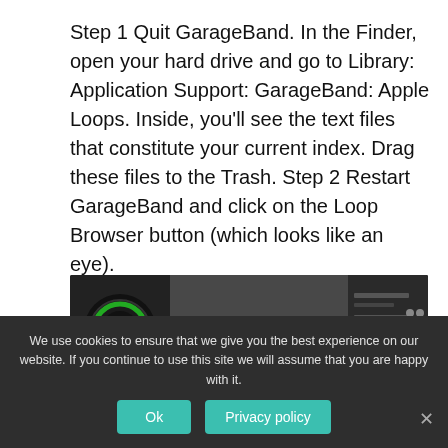Step 1 Quit GarageBand. In the Finder, open your hard drive and go to Library: Application Support: GarageBand: Apple Loops. Inside, you'll see the text files that constitute your current index. Drag these files to the Trash. Step 2 Restart GarageBand and click on the Loop Browser button (which looks like an eye).
[Figure (screenshot): Video thumbnail showing GarageBand interface with title 'How to Find & Organize Missin...']
We use cookies to ensure that we give you the best experience on our website. If you continue to use this site we will assume that you are happy with it.